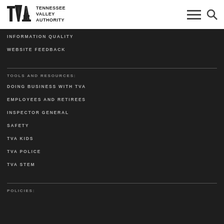Tennessee Valley Authority
INFORMATION QUALITY
WEBSITE FEEDBACK
TOOLS AND RESOURCES:
DOING BUSINESS WITH TVA
EMPLOYEES AND RETIREES
INSPECTOR GENERAL
SAFETY
TVA KIDS
TVA POLICE
TVA STEM
POLICIES: